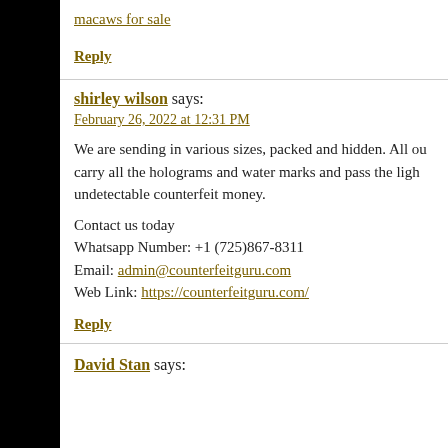macaws for sale
Reply
shirley wilson says:
February 26, 2022 at 12:31 PM
We are sending in various sizes, packed and hidden. All ou carry all the holograms and water marks and pass the ligh undetectable counterfeit money.
Contact us today
Whatsapp Number: +1 (725)867-8311
Email: admin@counterfeitguru.com
Web Link: https://counterfeitguru.com/
Reply
David Stan says: